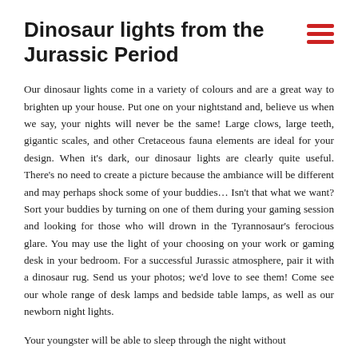Dinosaur lights from the Jurassic Period
Our dinosaur lights come in a variety of colours and are a great way to brighten up your house. Put one on your nightstand and, believe us when we say, your nights will never be the same! Large clows, large teeth, gigantic scales, and other Cretaceous fauna elements are ideal for your design. When it’s dark, our dinosaur lights are clearly quite useful. There’s no need to create a picture because the ambiance will be different and may perhaps shock some of your buddies… Isn’t that what we want? Sort your buddies by turning on one of them during your gaming session and looking for those who will drown in the Tyrannosaur’s ferocious glare. You may use the light of your choosing on your work or gaming desk in your bedroom. For a successful Jurassic atmosphere, pair it with a dinosaur rug. Send us your photos; we’d love to see them! Come see our whole range of desk lamps and bedside table lamps, as well as our newborn night lights.
Your youngster will be able to sleep through the night without